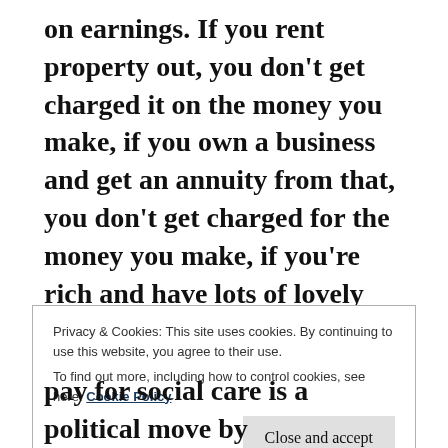on earnings. If you rent property out, you don't get charged it on the money you make, if you own a business and get an annuity from that, you don't get charged for the money you make, if you're rich and have lots of lovely investments bringing in more cash for you, you don't get charged for the money you make. All in all, National
Privacy & Cookies: This site uses cookies. By continuing to use this website, you agree to their use.
To find out more, including how to control cookies, see here: Cookie Policy
Close and accept
pay for social care is a political move by